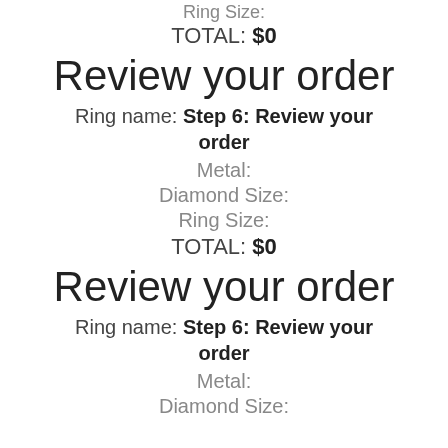Ring Size:
TOTAL: $0
Review your order
Ring name: Step 6: Review your order
Metal:
Diamond Size:
Ring Size:
TOTAL: $0
Review your order
Ring name: Step 6: Review your order
Metal:
Diamond Size: